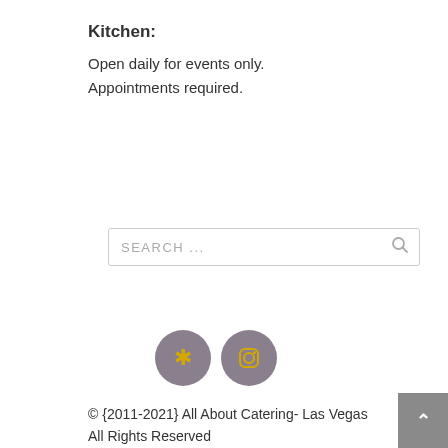Kitchen:
Open daily for events only.
Appointments required.
[Figure (other): Search bar with placeholder text SEARCH ... and a search icon]
[Figure (other): Two circular social media icons: Yelp (star symbol in gold on mauve circle) and Instagram (camera icon in gold on mauve circle)]
© {2011-2021} All About Catering- Las Vegas
All Rights Reserved